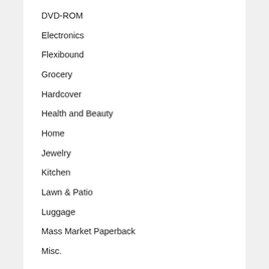DVD-ROM
Electronics
Flexibound
Grocery
Hardcover
Health and Beauty
Home
Jewelry
Kitchen
Lawn & Patio
Luggage
Mass Market Paperback
Misc.